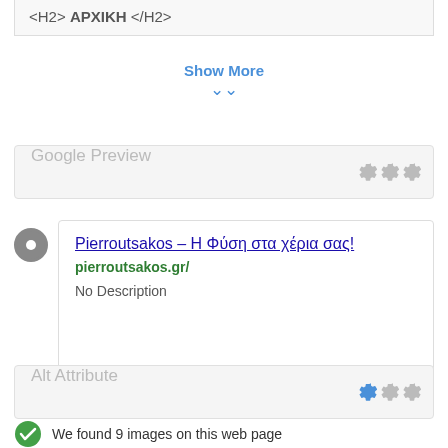<H2> ΑΡΧΙΚΗ </H2>
Show More
Google Preview
[Figure (screenshot): Google search preview card showing title 'Pierroutsakos – Η Φύση στα χέρια σας!', URL 'pierroutsakos.gr/', and 'No Description']
Alt Attribute
We found 9 images on this web page